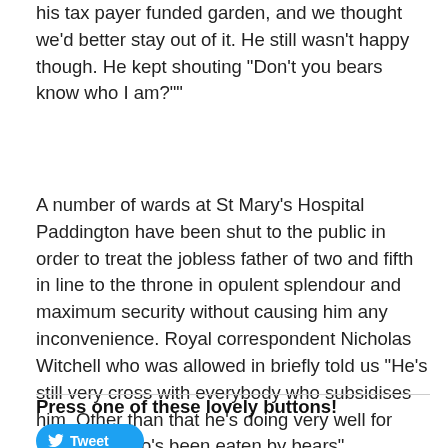his tax payer funded garden, and we thought we'd better stay out of it. He still wasn't happy though. He kept shouting "Don't you bears know who I am?""
A number of wards at St Mary's Hospital Paddington have been shut to the public in order to treat the jobless father of two and fifth in line to the throne in opulent splendour and maximum security without causing him any inconvenience. Royal correspondent Nicholas Witchell who was allowed in briefly told us "He's still very cross with everybody who subsidises him. Other than that he's doing very well for someone who's been eaten by bears"
Press one of these lovely buttons!